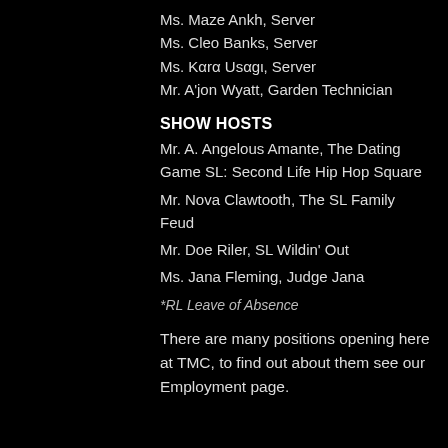Ms. Maze Ankh, Server
Ms. Cleo Banks, Server
Ms. Kara Usagi, Server
Mr. A'jon Wyatt, Garden Technician
SHOW HOSTS
Mr. A. Angelous Amante, The Dating Game SL: Second Life Hip Hop Square
Mr. Nova Clawtooth, The SL Family Feud
Mr. Doe Riler, SL Wildin' Out
Ms. Jana Fleming, Judge Jana
*RL Leave of Absence
There are many positions opening here at TMC, to find out about them see our Employment page.